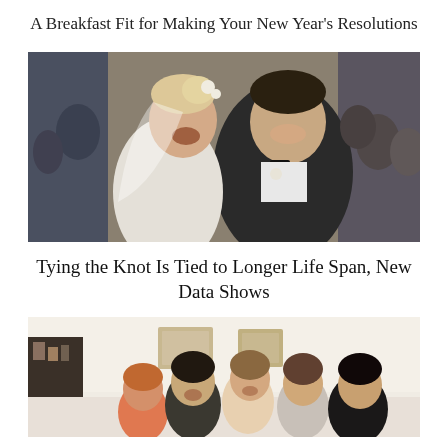A Breakfast Fit for Making Your New Year’s Resolutions
[Figure (photo): A bride and groom smiling and laughing at each other at a wedding ceremony, surrounded by guests in formal attire. The bride wears white and has flowers in her hair; the groom wears a dark suit with a white rose boutonniere.]
Tying the Knot Is Tied to Longer Life Span, New Data Shows
[Figure (photo): A group of young people laughing and socializing in a bright indoor setting with framed pictures on the wall behind them.]